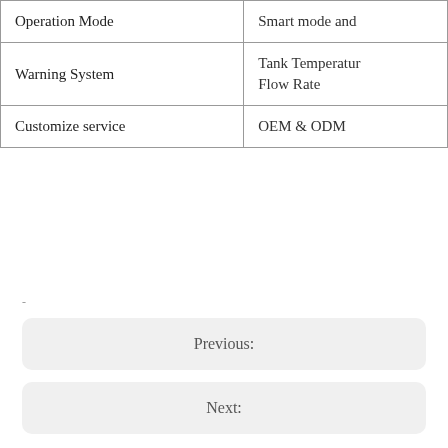|  |  |
| --- | --- |
| Operation Mode | Smart mode and |
| Warning System | Tank Temperatur...
Flow Rate |
| Customize service | OEM & ODM |
-
Previous:
Next: